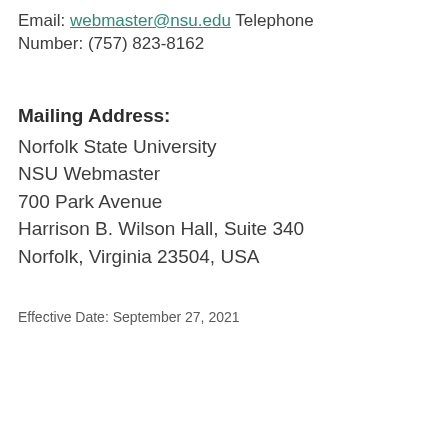Email: webmaster@nsu.edu  Telephone Number: (757) 823-8162
Mailing Address:
Norfolk State University
NSU Webmaster
700 Park Avenue
Harrison B. Wilson Hall, Suite 340
Norfolk, Virginia 23504, USA
Effective Date:  September 27, 2021